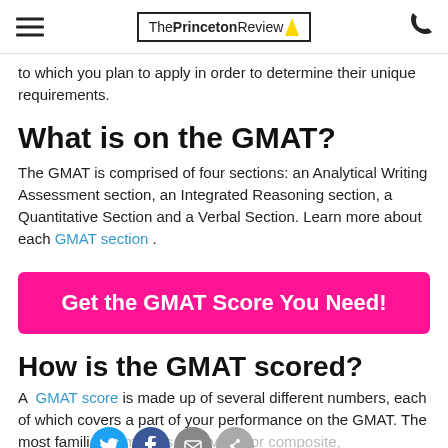The Princeton Review
to which you plan to apply in order to determine their unique requirements.
What is on the GMAT?
The GMAT is comprised of four sections: an Analytical Writing Assessment section, an Integrated Reasoning section, a Quantitative Section and a Verbal Section. Learn more about each GMAT section .
Get the GMAT Score You Need!
How is the GMAT scored?
A GMAT score is made up of several different numbers, each of which covers a part of your performance on the GMAT. The most familiar number is the overall or composite, GMAT score. This number ranges from 200 to 800 in 10-